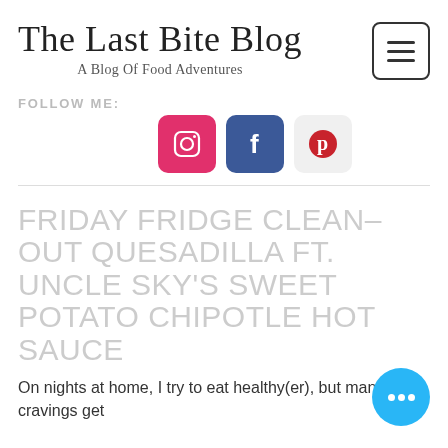The Last Bite Blog — A Blog Of Food Adventures
FOLLOW ME:
[Figure (infographic): Social media icons: Instagram (pink), Facebook (blue), Pinterest (light gray background with red P logo)]
FRIDAY FRIDGE CLEAN-OUT QUESADILLA FT. UNCLE SKY'S SWEET POTATO CHIPOTLE HOT SAUCE
On nights at home, I try to eat healthy(er), but man, cravings get...